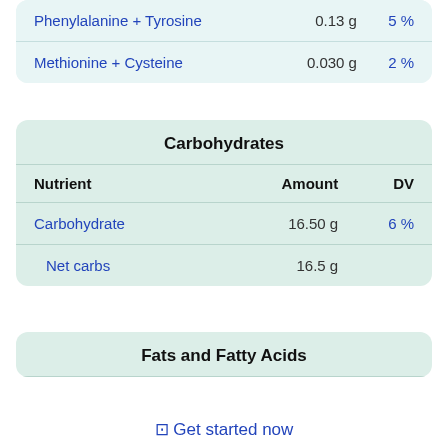| Nutrient | Amount | DV |
| --- | --- | --- |
| Phenylalanine + Tyrosine | 0.13 g | 5 % |
| Methionine + Cysteine | 0.030 g | 2 % |
| Nutrient | Amount | DV |
| --- | --- | --- |
| Carbohydrate | 16.50 g | 6 % |
| Net carbs | 16.5 g |  |
Fats and Fatty Acids
⊡ Get started now